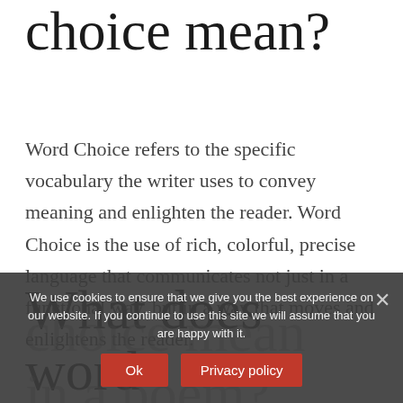choice mean?
Word Choice refers to the specific vocabulary the writer uses to convey meaning and enlighten the reader. Word Choice is the use of rich, colorful, precise language that communicates not just in a functional way, but in a way that moves and enlightens the reader.
What does word choice mean in a poem?
We use cookies to ensure that we give you the best experience on our website. If you continue to use this site we will assume that you are happy with it.